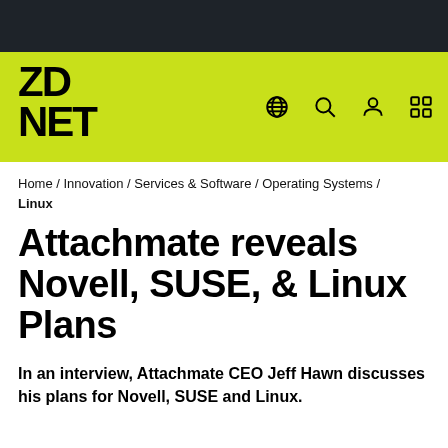[Figure (logo): ZDNet logo on lime/yellow-green navigation bar with dark top bar and navigation icons (globe, search, user, grid)]
Home / Innovation / Services & Software / Operating Systems / Linux
Attachmate reveals Novell, SUSE, & Linux Plans
In an interview, Attachmate CEO Jeff Hawn discusses his plans for Novell, SUSE and Linux.